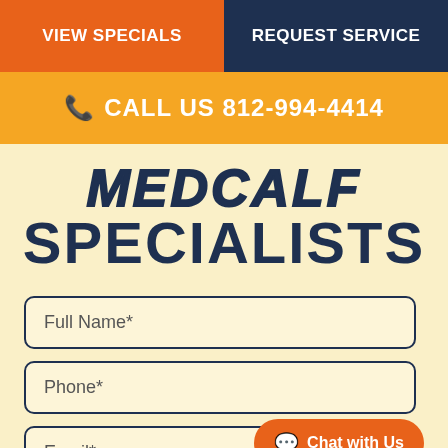VIEW SPECIALS | REQUEST SERVICE
CALL US 812-994-4414
MEDCALF SPECIALISTS
Full Name*
Phone*
Email*
Chat with Us